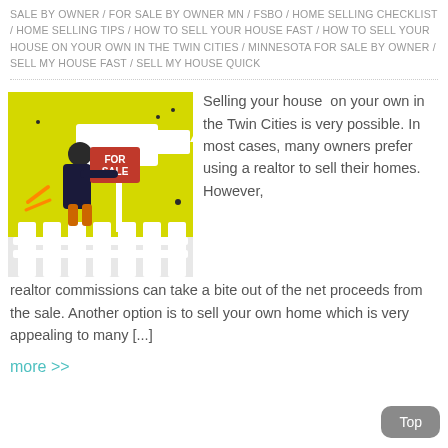SALE BY OWNER / FOR SALE BY OWNER MN / FSBO / HOME SELLING CHECKLIST / HOME SELLING TIPS / HOW TO SELL YOUR HOUSE FAST / HOW TO SELL YOUR HOUSE ON YOUR OWN IN THE TWIN CITIES / MINNESOTA FOR SALE BY OWNER / SELL MY HOUSE FAST / SELL MY HOUSE QUICK
[Figure (illustration): Cartoon illustration of a person holding a FOR SALE sign on a yellow background with a white picket fence]
Selling your house on your own in the Twin Cities is very possible. In most cases, many owners prefer using a realtor to sell their homes. However, realtor commissions can take a bite out of the net proceeds from the sale. Another option is to sell your own home which is very appealing to many [...]
more >>